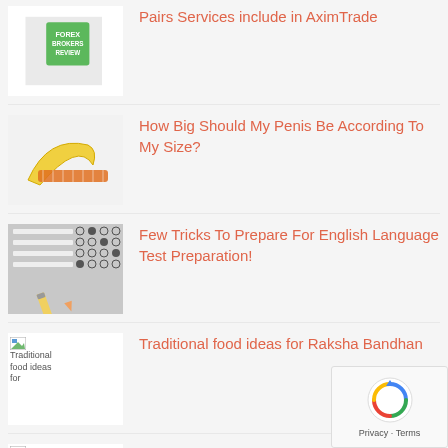Pairs Services include in AximTrade
How Big Should My Penis Be According To My Size?
Few Tricks To Prepare For English Language Test Preparation!
Traditional food ideas for Raksha Bandhan
What Are Some Fun Things to Do Near